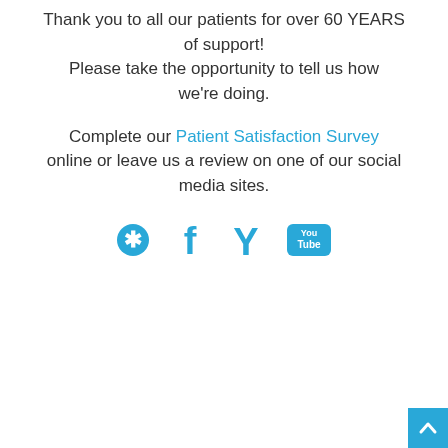Thank you to all our patients for over 60 YEARS of support! Please take the opportunity to tell us how we're doing.
Complete our Patient Satisfaction Survey online or leave us a review on one of our social media sites.
[Figure (illustration): Four social media icons in blue: Yelp, Facebook, Yelp (Y), and YouTube]